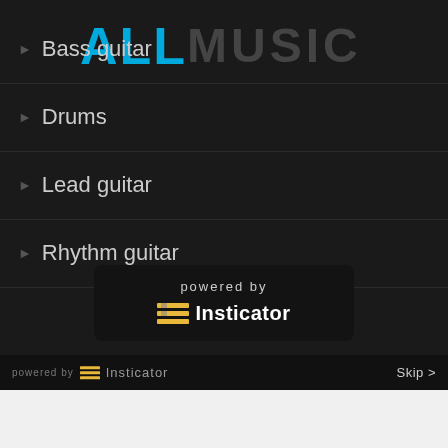[Figure (screenshot): AllMusic website screenshot showing a dark-themed music genre list with Bass guitar, Drums, Lead guitar, Rhythm guitar menu items. An Insticator overlay popup shows 'powered by Insticator' branding. A bottom bar shows 'powered by Insticator' and a Skip button.]
Bass guitar
Drums
Lead guitar
Rhythm guitar
powered by
Insticator
powered by Insticator
Skip >